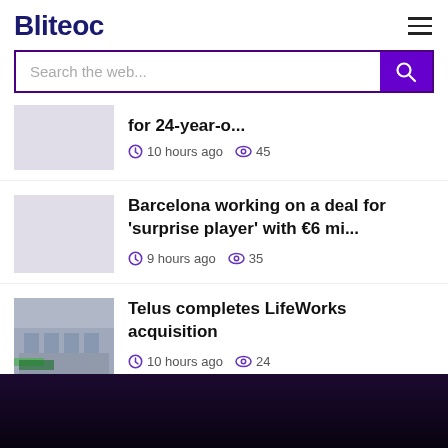Bliteoc
Search the web...
for 24-year-o... 10 hours ago 45
Barcelona working on a deal for 'surprise player' with €6 mi... 9 hours ago 35
Telus completes LifeWorks acquisition 10 hours ago 24